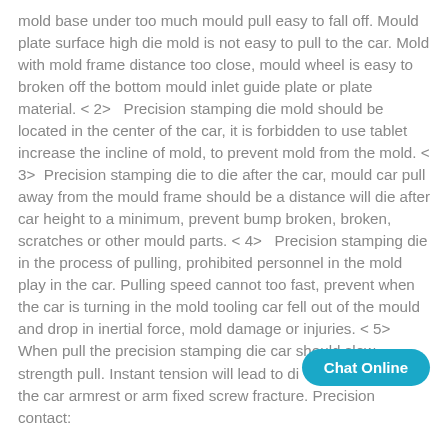mold base under too much mould pull easy to fall off. Mould plate surface high die mold is not easy to pull to the car. Mold with mold frame distance too close, mould wheel is easy to broken off the bottom mould inlet guide plate or plate material. < 2>   Precision stamping die mold should be located in the center of the car, it is forbidden to use tablet increase the incline of mold, to prevent mold from the mold. < 3>   Precision stamping die to die after the car, mould car pull away from the mould frame should be a distance will die after car height to a minimum, prevent bump broken, broken, scratches or other mould parts. < 4>   Precision stamping die in the process of pulling, prohibited personnel in the mold play in the car. Pulling speed cannot too fast, prevent when the car is turning in the mold tooling car fell out of the mould and drop in inertial force, mold damage or injuries. < 5>  When pull the precision stamping die car should slow strength pull. Instant tension will lead to di the car armrest or arm fixed screw fracture. Precision contact:
[Figure (other): Chat Online button — a teal rounded pill-shaped button with white bold text reading 'Chat Online']